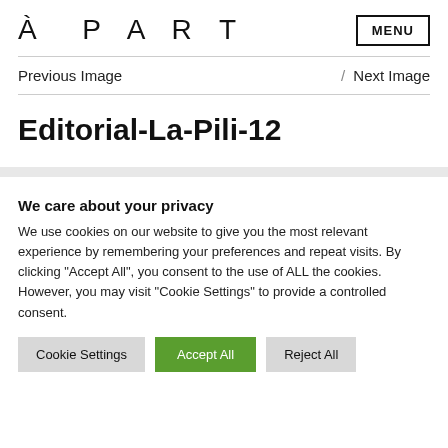À P A R T  MENU
Previous Image / Next Image
Editorial-La-Pili-12
We care about your privacy
We use cookies on our website to give you the most relevant experience by remembering your preferences and repeat visits. By clicking "Accept All", you consent to the use of ALL the cookies. However, you may visit "Cookie Settings" to provide a controlled consent.